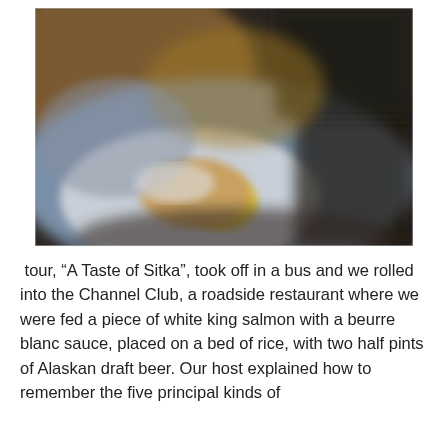[Figure (photo): A blurry close-up photo of a dish of food, appearing to show salmon or a similar fish dish with a yellow sauce on a white plate, in a dimly lit restaurant setting.]
tour, “A Taste of Sitka”, took off in a bus and we rolled into the Channel Club, a roadside restaurant where we were fed a piece of white king salmon with a beurre blanc sauce, placed on a bed of rice, with two half pints of Alaskan draft beer. Our host explained how to remember the five principal kinds of